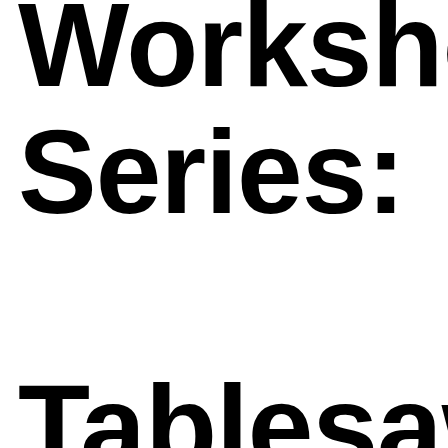Workshop Series: Tablesaw Techniques DVD